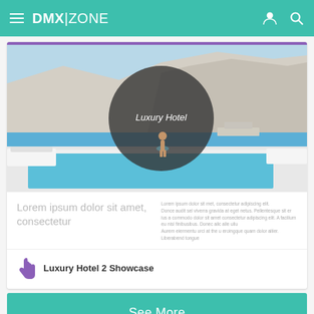DMX|ZONE
[Figure (screenshot): Luxury hotel infinity pool overlooking sea and cliffs (Santorini), with a dark circular overlay showing text 'Luxury Hotel'. Woman sitting at pool edge.]
Lorem ipsum dolor sit amet, consectetur
Lorem ipsum dolor sit met, consectetur adipiscing elit. Donce audit sel viverra gravida at eget netus. Pellentesque sit er ius a commodo dolor sit amet consectetur adipiscing elit. A facilium eu nisl finibusibus. Donec allc alle ullu Aurem eiermentu orci at the u eroingque quam dolor aliier. Liberabend tongue
Luxury Hotel 2 Showcase
See More
Videos